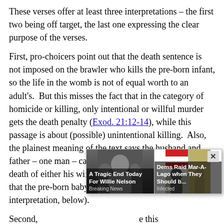These verses offer at least three interpretations – the first two being off target, the last one expressing the clear purpose of the verses.
First, pro-choicers point out that the death sentence is not imposed on the brawler who kills the pre-born infant, so the life in the womb is not of equal worth to an adult's. But this misses the fact that in the category of homicide or killing, only intentional or willful murder gets the death penalty (Exod. 21:12-14), while this passage is about (possible) unintentional killing. Also, the plainest meaning of the text says the husband and father – one man – can get compensation for injury or death of either his wife or his child or children, implying that the pre-born baby and mother are equals (see the last interpretation, below).
Second, [ad overlay partially obscures] ...e this question ...baby does not ...illful killing o ...me to
[Figure (other): Advertising overlay with two news teasers: 'A Tragic End Today For Willie Nelson – Breaking News' (left) and 'Dems Raid Mar-A-Lago when They Should b... – Infected' (right), with an X close button.]